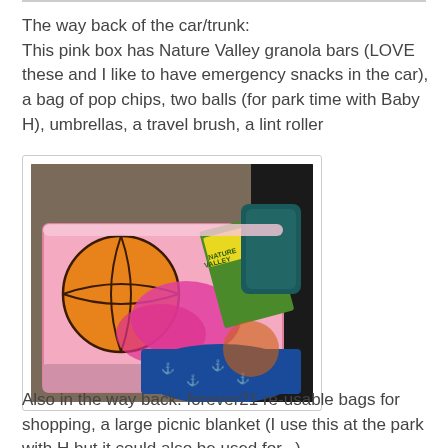The way back of the car/trunk:
This pink box has Nature Valley granola bars (LOVE these and I like to have emergency snacks in the car), a bag of pop chips, two balls (for park time with Baby H), umbrellas, a travel brush, a lint roller
[Figure (photo): Photo of a pink storage box/bin containing an orange basketball, pink fabric items, a Nature Valley granola bars box, a blue anchor-print item, and a dark teal bag, sitting in the trunk/back of a car.]
Also in the way back: forever21 re-usable bags for shopping, a large picnic blanket (I use this at the park with H but it could also be used for...